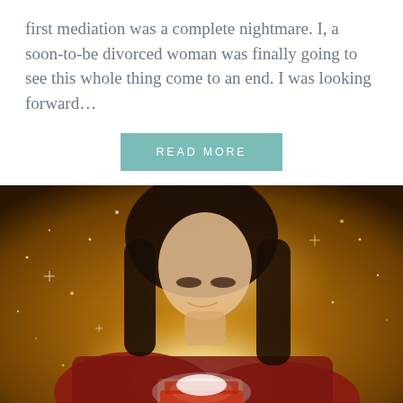first mediation was a complete nightmare. I, a soon-to-be divorced woman was finally going to see this whole thing come to an end. I was looking forward…
READ MORE
[Figure (photo): A woman with dark hair smiling and looking down at a glowing box she is opening, surrounded by golden sparkles and bokeh lights on a warm amber background.]